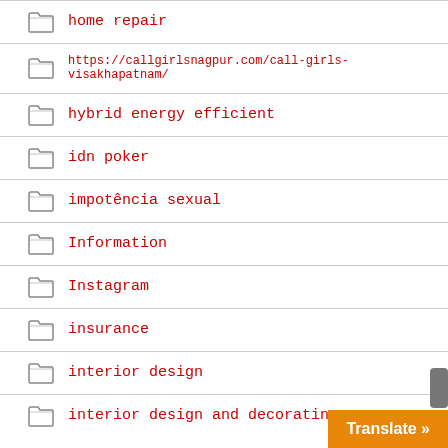home repair
https://callgirlsnagpur.com/call-girls-visakhapatnam/
hybrid energy efficient
idn poker
impotência sexual
Information
Instagram
insurance
interior design
interior design and decorating